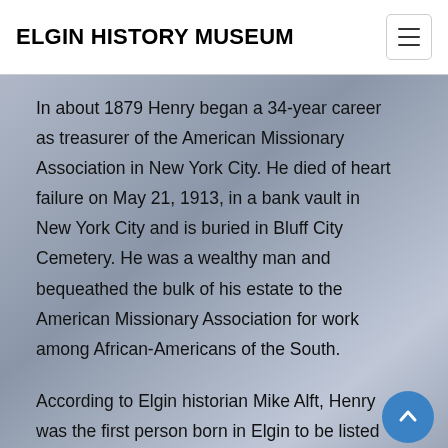ELGIN HISTORY MUSEUM
In about 1879 Henry began a 34-year career as treasurer of the American Missionary Association in New York City. He died of heart failure on May 21, 1913, in a bank vault in New York City and is buried in Bluff City Cemetery. He was a wealthy man and bequeathed the bulk of his estate to the American Missionary Association for work among African-Americans of the South.
According to Elgin historian Mike Alft, Henry was the first person born in Elgin to be listed in the prestigious “Who’s Who in America.” He was a bachelor who considered Elgin as his ultimate home and was a frequent visitor to friends and relatives